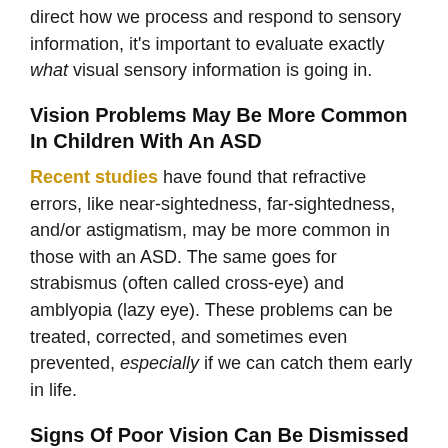direct how we process and respond to sensory information, it's important to evaluate exactly what visual sensory information is going in.
Vision Problems May Be More Common In Children With An ASD
Recent studies have found that refractive errors, like near-sightedness, far-sightedness, and/or astigmatism, may be more common in those with an ASD. The same goes for strabismus (often called cross-eye) and amblyopia (lazy eye). These problems can be treated, corrected, and sometimes even prevented, especially if we can catch them early in life.
Signs Of Poor Vision Can Be Dismissed As Autistic Behavior
Poor vision can be especially hard to catch in children with an ASD, since signs are attributed to, or blended with, autistic behavior. This might include: